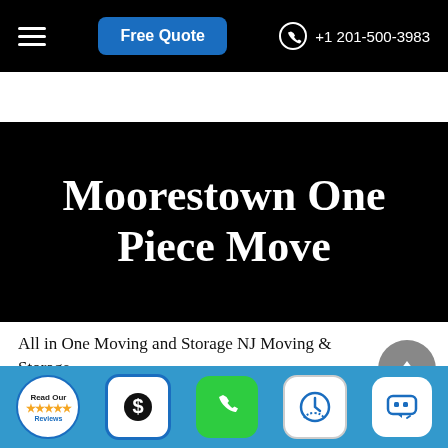Free Quote | +1 201-500-3983
Moorestown One Piece Move
All in One Moving and Storage NJ Moving & Storage
Hours: 7 days per week 7am-11pm
Phone: (201) 773-6960
All in One Moving and
[Figure (screenshot): Bottom app toolbar with icons: Read Our Reviews badge, dollar sign icon, green phone icon, clock icon, chat/message icon]